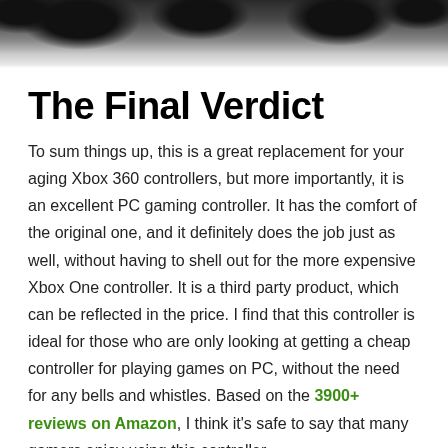[Figure (photo): Top portion of a photo showing dark gaming controllers against a dark/metallic surface, partially cropped at the top of the page]
The Final Verdict
To sum things up, this is a great replacement for your aging Xbox 360 controllers, but more importantly, it is an excellent PC gaming controller. It has the comfort of the original one, and it definitely does the job just as well, without having to shell out for the more expensive Xbox One controller. It is a third party product, which can be reflected in the price. I find that this controller is ideal for those who are only looking at getting a cheap controller for playing games on PC, without the need for any bells and whistles. Based on the 3900+ reviews on Amazon, I think it's safe to say that many gamers enjoy using this controller.
I hope you have enjoyed my review of the VOYEE Wired Xbox 360